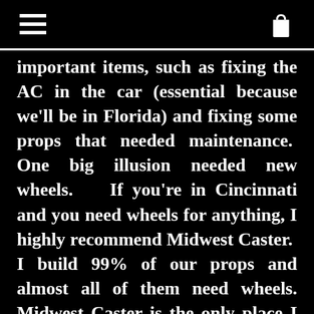[hamburger menu icon] [shopping bag icon]
important items, such as fixing the AC in the car (essential because we'll be in Florida) and fixing some props that needed maintenance. One big illusion needed new wheels. If you're in Cincinnati and you need wheels for anything, I highly recommend Midwest Caster. I build 99% of our props and almost all of them need wheels. Midwest Caster is the only place I go- they know their stuff and they have literally everything. Here's a small